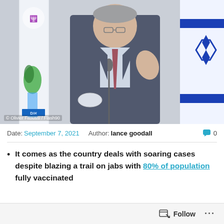[Figure (photo): Man in dark suit with red tie speaking at a podium with microphone, Israeli flags and logos visible in background]
© Olivier Fitoussi / Flash90
Date: September 7, 2021   Author: lance goodall   💬 0
It comes as the country deals with soaring cases despite blazing a trail on jabs with 80% of population fully vaccinated
[partial, cut off]